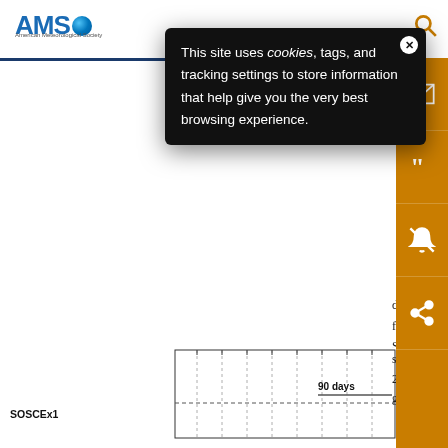AMS (American Meteorological Society) header with logo and search icon
This site uses cookies, tags, and tracking settings to store information that help give you the very best browsing experience.
dep for SO thic sho
sea 2015 glic
[Figure (other): Partial chart with dashed grid lines and a horizontal line labeled '90 days', with y-axis label 'SOSCEx1']